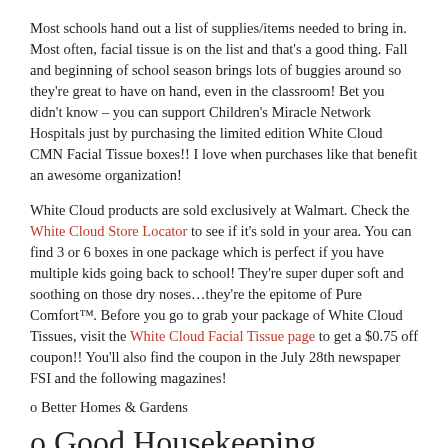Most schools hand out a list of supplies/items needed to bring in. Most often, facial tissue is on the list and that's a good thing. Fall and beginning of school season brings lots of buggies around so they're great to have on hand, even in the classroom! Bet you didn't know – you can support Children's Miracle Network Hospitals just by purchasing the limited edition White Cloud CMN Facial Tissue boxes!! I love when purchases like that benefit an awesome organization!
White Cloud products are sold exclusively at Walmart. Check the White Cloud Store Locator to see if it's sold in your area. You can find 3 or 6 boxes in one package which is perfect if you have multiple kids going back to school! They're super duper soft and soothing on those dry noses…they're the epitome of Pure Comfort™. Before you go to grab your package of White Cloud Tissues, visit the White Cloud Facial Tissue page to get a $0.75 off coupon!! You'll also find the coupon in the July 28th newspaper FSI and the following magazines!
o Better Homes & Gardens
o Good Housekeeping
o First for Women